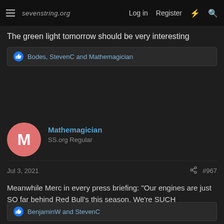sevenstring.org — Log in | Register
The green light tomorrow should be very interesting
Bodes, StevenC and Mathemagician
Mathemagician
SS.org Regular
Jul 3, 2021  #967
Meanwhile Merc in every press briefing: "Our engines are just SO far behind Red Bull's this season. We're SUCH underdogs." Lol.
BenjaminW and StevenC